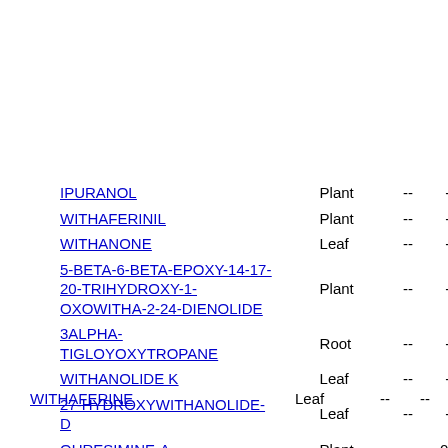| Name | Source | Col1 | Col2 |
| --- | --- | --- | --- |
| IPURANOL | Plant | -- | -- |
| WITHAFERINIL | Plant | -- | -- |
| WITHANONE | Leaf | -- | -- |
| 5-BETA-6-BETA-EPOXY-14-17-20-TRIHYDROXY-1-OXOWITHA-2-24-DIENOLIDE | Plant | -- | -- |
| 3ALPHA-TIGLOYOXYTROPANE | Root | -- | -- |
| WITHANOLIDE K | Leaf | -- | -- |
| 27-HYDROXYWITHANOLIDE-D | Leaf | -- | -- |
| QURESIMINE-A | Plant | -- | 0.2 |
| WITHAFERINE | Leaf | -- | -- |